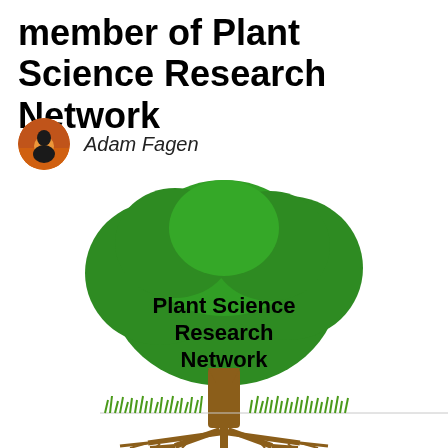member of Plant Science Research Network
Adam Fagen
[Figure (illustration): Plant Science Research Network logo: a stylized tree with a large green rounded canopy, brown trunk and visible root system below ground, grass line at soil surface, with text 'Plant Science Research Network' overlaid on the canopy.]